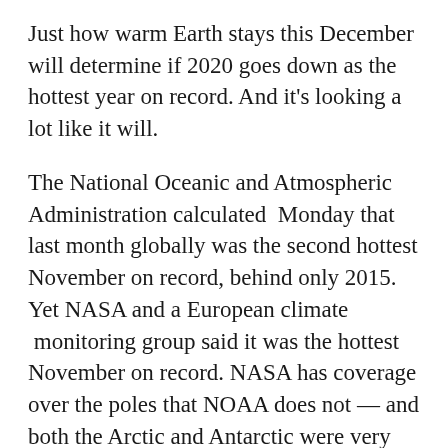Just how warm Earth stays this December will determine if 2020 goes down as the hottest year on record. And it's looking a lot like it will.
The National Oceanic and Atmospheric Administration calculated  Monday that last month globally was the second hottest November on record, behind only 2015. Yet NASA and a European climate  monitoring group said it was the hottest November on record. NASA has coverage over the poles that NOAA does not — and both the Arctic and Antarctic were very warm in November, NOAA climate scientist Ahira Sanchez-Lugo said to explain the difference.
Earth's temperature in November was 56.97...